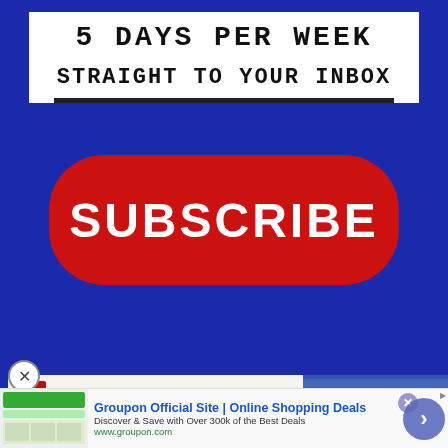[Figure (infographic): Blue background promotional banner with white text box reading '5 DAYS PER WEEK' and 'STRAIGHT TO YOUR INBOX' with a horizontal underline, and a large red rounded rectangle button with white bold text 'SUBSCRIBE']
[Figure (infographic): Podcast advertisement overlay for 'The Jason Barrett Podcast' showing red title text 'THE', 'JASO BARRE' 'PODCAST' in blue, and right side shows a photo of Paul Finebaum with caption 'PAUL FINEBAUM KNOWS THE POWER' on red background]
[Figure (infographic): Bottom advertisement banner for 'Groupon Official Site | Online Shopping Deals' with text 'Discover & Save with Over 300k of the Best Deals' and URL 'www.groupon.com', with a blue circular arrow button on the right]